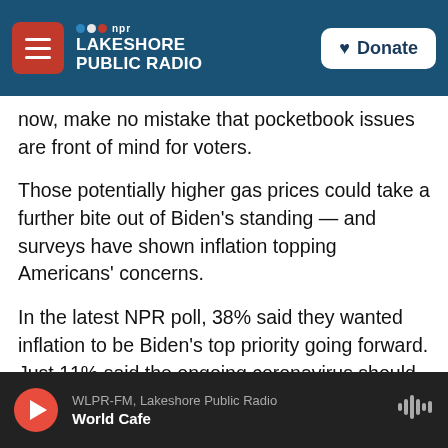NPR - Lakeshore Public Radio | Donate
now, make no mistake that pocketbook issues are front of mind for voters.
Those potentially higher gas prices could take a further bite out of Biden's standing — and surveys have shown inflation topping Americans' concerns.
In the latest NPR poll, 38% said they wanted inflation to be Biden's top priority going forward. Just 11% said the ongoing coronavirus should be. The same number said voting laws, while 10% each said foreign policy and violent crime should be.
Biden has been criticized for being slow to make
WLPR-FM, Lakeshore Public Radio — World Cafe